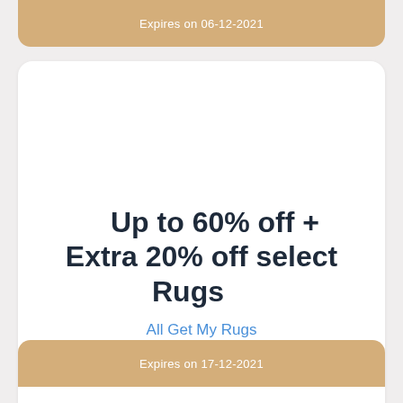Expires on 06-12-2021
Up to 60% off + Extra 20% off select Rugs
All Get My Rugs
Get Code
Expires on 17-12-2021